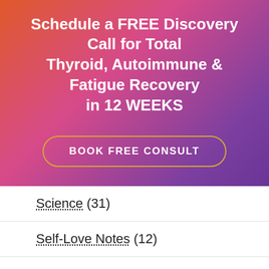[Figure (infographic): Gradient banner (orange to purple) with white bold text: 'Schedule a FREE Discovery Call for Total Thyroid, Autoimmune & Fatigue Recovery in 12 WEEKS' and a gold-outlined pill button labeled 'BOOK FREE CONSULT']
Science (31)
Self-Love Notes (12)
Spirituality (21)
Stress (37)
Thyroid (54)
Whole-Healing Results (10)